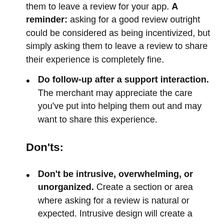them to leave a review for your app. A reminder: asking for a good review outright could be considered as being incentivized, but simply asking them to leave a review to share their experience is completely fine.
Do follow-up after a support interaction. The merchant may appreciate the care you've put into helping them out and may want to share this experience.
Don'ts:
Don't be intrusive, overwhelming, or unorganized. Create a section or area where asking for a review is natural or expected. Intrusive design will create a